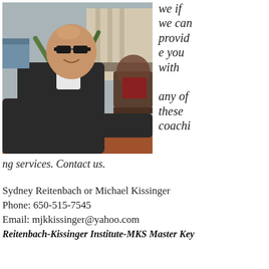[Figure (photo): A man in a dark jacket sitting outdoors on a patio/deck area with a large potted agave plant, a drink on the table, and buildings/water in the background.]
we if we can provide you with any of these coaching services. Contact us.
Sydney Reitenbach or Michael Kissinger
Phone: 650-515-7545
Email: mjkkissinger@yahoo.com
Reitenbach-Kissinger Institute-MKS Master Key